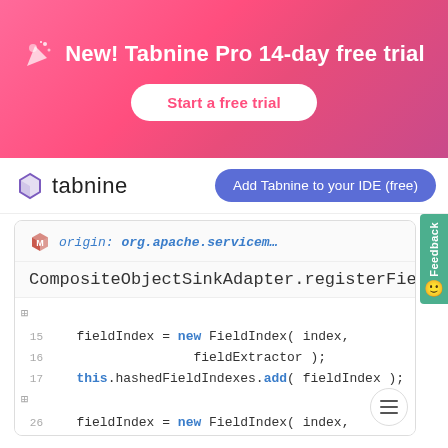[Figure (screenshot): Tabnine Pro 14-day free trial banner with gradient pink/red background, party popper emoji icon, white Start a free trial button]
[Figure (screenshot): Tabnine logo and navbar with Add Tabnine to your IDE (free) purple button, with a code viewer showing Java code for CompositeObjectSinkAdapter.registerFieldIndex with fieldIndex = new FieldIndex(index, fieldExtractor) and this.hashedFieldIndexes.add(fieldIndex) repeated, with line numbers 15-28 and expand icons, plus a green Feedback sidebar tab and hamburger menu button]